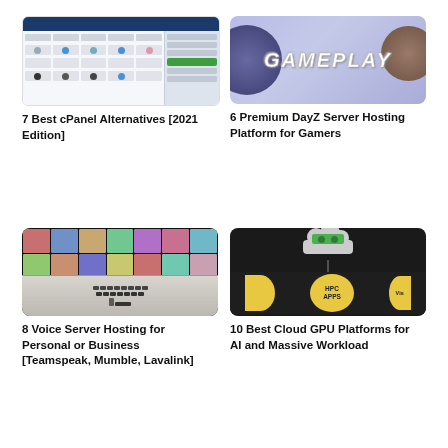[Figure (screenshot): Screenshot of cPanel web hosting control panel interface showing file/app management grid]
7 Best cPanel Alternatives [2021 Edition]
[Figure (photo): Gameplay text logo on purple background with circular shapes]
6 Premium DayZ Server Hosting Platform for Gamers
[Figure (photo): Video conference grid of faces on laptop screen with hand on keyboard below]
8 Voice Server Hosting for Personal or Business [Teamspeak, Mumble, Lavalink]
[Figure (infographic): Cloud GPU platform diagram with green GPU card in cloud, connected to HPC APPS and Vis bubbles on dark background]
10 Best Cloud GPU Platforms for AI and Massive Workload